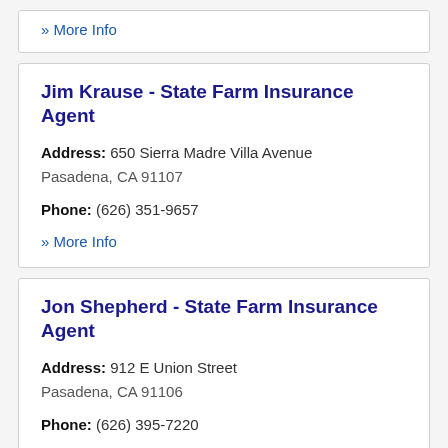» More Info
Jim Krause - State Farm Insurance Agent
Address: 650 Sierra Madre Villa Avenue Pasadena, CA 91107
Phone: (626) 351-9657
» More Info
Jon Shepherd - State Farm Insurance Agent
Address: 912 E Union Street Pasadena, CA 91106
Phone: (626) 395-7220